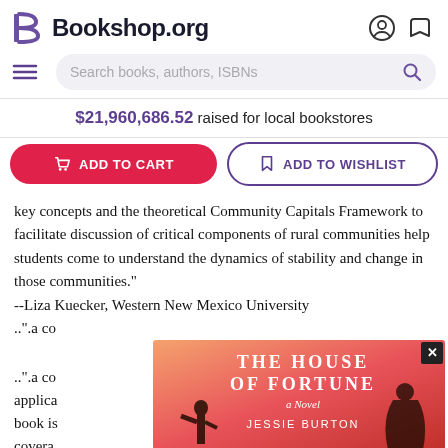Bookshop.org
$21,960,686.52 raised for local bookstores
ADD TO CART | ADD TO WISHLIST
key concepts and the theoretical Community Capitals Framework to facilitate discussion of critical components of rural communities help students come to understand the dynamics of stability and change in those communities."
--Liza Kuecker, Western New Mexico University
...".a co... applica... he book is... rough covera...
[Figure (illustration): Advertisement overlay for 'The House of Fortune: A Novel' by Jessie Burton, featuring an orange-pink gradient background with silhouetted figures and white serif text. A close button (X) appears in the top-right corner.]